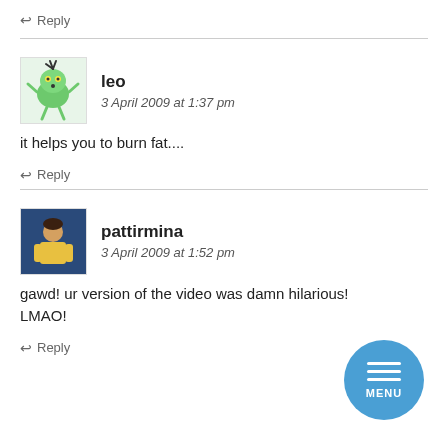↩ Reply
leo
3 April 2009 at 1:37 pm
it helps you to burn fat....
↩ Reply
pattirmina
3 April 2009 at 1:52 pm
gawd! ur version of the video was damn hilarious! LMAO!
↩ Reply